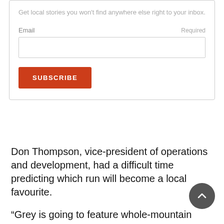Get local stories you won't find anywhere else right to your inbox.
Email                                                         Required
SUBSCRIBE
Don Thompson, vice-president of operations and development, had a difficult time predicting which run will become a local favourite.
“Grey is going to feature whole-mountain skiing. It’s a natural playground with interesting topography,” Thompson said.